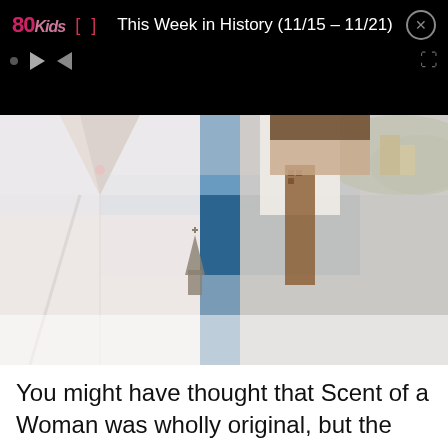80Kids | [ ] | This Week in History (11/15 – 11/21) | X
[Figure (photo): Movie poster style image showing a woman in a white dress on the left side and a man in a white suit with a tie on the right side, with a Mediterranean coastal landscape visible in the background.]
You might have thought that Scent of a Woman was wholly original, but the truth is it's actually based on an Italian movie from the 1970s.